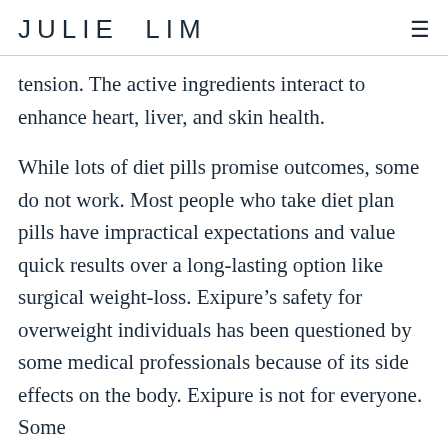JULIE LIM
tension. The active ingredients interact to enhance heart, liver, and skin health.
While lots of diet pills promise outcomes, some do not work. Most people who take diet plan pills have impractical expectations and value quick results over a long-lasting option like surgical weight-loss. Exipure’s safety for overweight individuals has been questioned by some medical professionals because of its side effects on the body. Exipure is not for everyone. Some